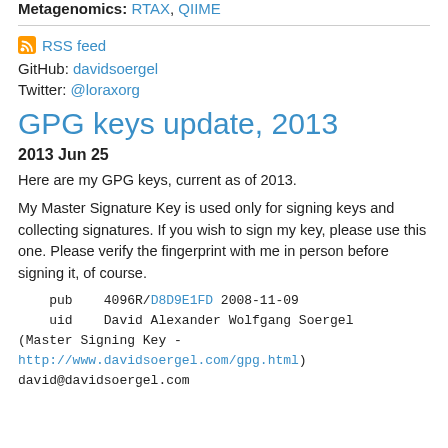Metagenomics: RTAX, QIIME
RSS feed
GitHub: davidsoergel
Twitter: @loraxorg
GPG keys update, 2013
2013 Jun 25
Here are my GPG keys, current as of 2013.
My Master Signature Key is used only for signing keys and collecting signatures. If you wish to sign my key, please use this one. Please verify the fingerprint with me in person before signing it, of course.
pub     4096R/D8D9E1FD 2008-11-09
    uid    David Alexander Wolfgang Soergel
(Master Signing Key -
http://www.davidsoergel.com/gpg.html)
david@davidsoergel.com